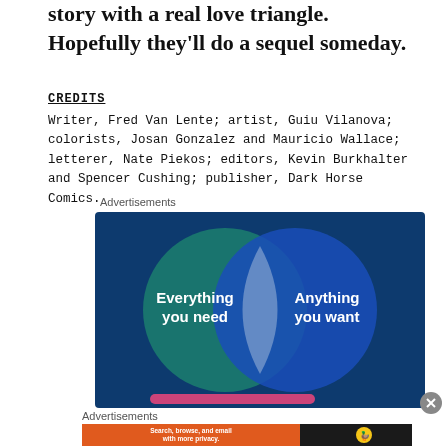story with a real love triangle. Hopefully they'll do a sequel someday.
CREDITS
Writer, Fred Van Lente; artist, Guiu Vilanova; colorists, Josan Gonzalez and Mauricio Wallace; letterer, Nate Piekos; editors, Kevin Burkhalter and Spencer Cushing; publisher, Dark Horse Comics.
Advertisements
[Figure (illustration): Venn diagram advertisement with two overlapping circles on dark blue background. Left circle (teal/green): 'Everything you need', Right circle (blue): 'Anything you want'. Overlapping area is lighter/white.]
Advertisements
[Figure (illustration): DuckDuckGo advertisement banner: orange section with text 'Search, browse, and email with more privacy. All in One Free App', dark section with DuckDuckGo logo duck icon.]